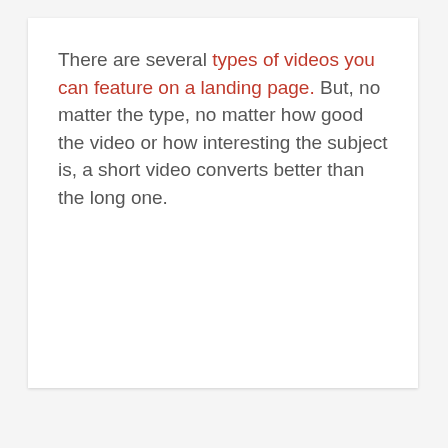There are several types of videos you can feature on a landing page. But, no matter the type, no matter how good the video or how interesting the subject is, a short video converts better than the long one.